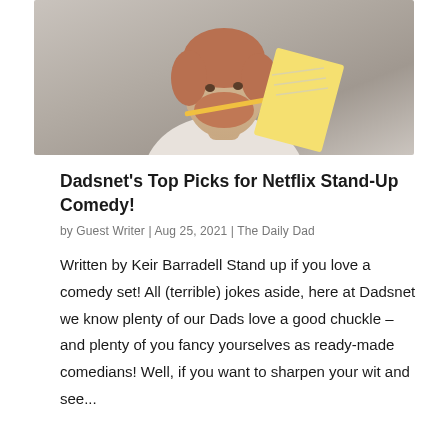[Figure (photo): A man with reddish beard holding a pencil in his mouth and a yellow notepad, looking upward thoughtfully, wearing a white polo shirt]
Dadsnet's Top Picks for Netflix Stand-Up Comedy!
by Guest Writer | Aug 25, 2021 | The Daily Dad
Written by Keir Barradell Stand up if you love a comedy set! All (terrible) jokes aside, here at Dadsnet we know plenty of our Dads love a good chuckle – and plenty of you fancy yourselves as ready-made comedians! Well, if you want to sharpen your wit and see...